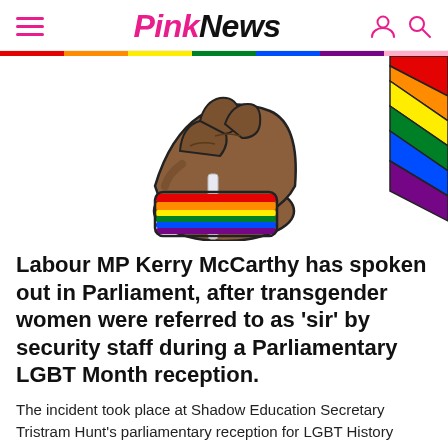PinkNews
[Figure (illustration): Illustration of a dark-skinned hand holding a white object (pole/pen), wearing a rainbow-striped wristband, with a rainbow pride flag visible in the upper right corner.]
Labour MP Kerry McCarthy has spoken out in Parliament, after transgender women were referred to as ‘sir’ by security staff during a Parliamentary LGBT Month reception.
The incident took place at Shadow Education Secretary Tristram Hunt’s parliamentary reception for LGBT History Month, on or around February...